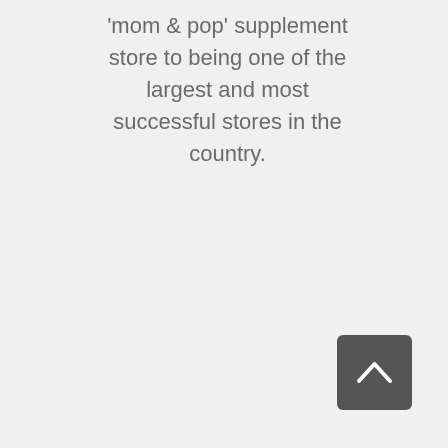'mom & pop' supplement store to being one of the largest and most successful stores in the country.
[Figure (other): Back-to-top button: a dark gray rounded square with a white upward-pointing chevron arrow]